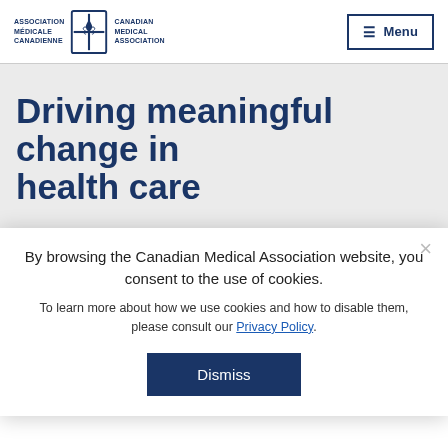Association Médicale Canadienne | Canadian Medical Association — Menu
Driving meaningful change in health care
By browsing the Canadian Medical Association website, you consent to the use of cookies. To learn more about how we use cookies and how to disable them, please consult our Privacy Policy.
Dismiss